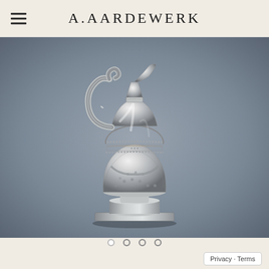A.AARDEWERK
[Figure (photo): A silver ornate ewer/pitcher with decorative handle, spout, garland motifs, beaded bands, and a square pedestal base, photographed against a grey gradient background]
[Figure (other): Carousel navigation dots: 4 dots, first one filled white (active), remaining 3 are empty circles]
Privacy · Terms